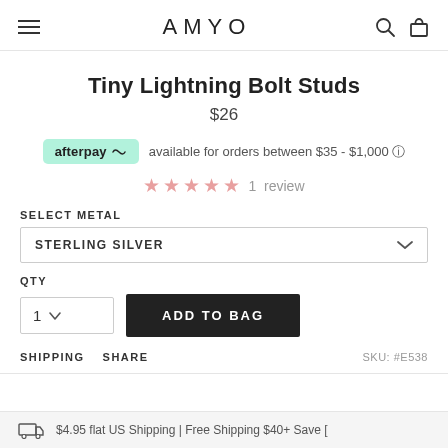AMYO
Tiny Lightning Bolt Studs
$26
afterpay available for orders between $35 - $1,000
1 review
SELECT METAL
STERLING SILVER
QTY
1  ADD TO BAG
SHIPPING  SHARE  SKU: #E538
$4.95 flat US Shipping | Free Shipping $40+ Save [